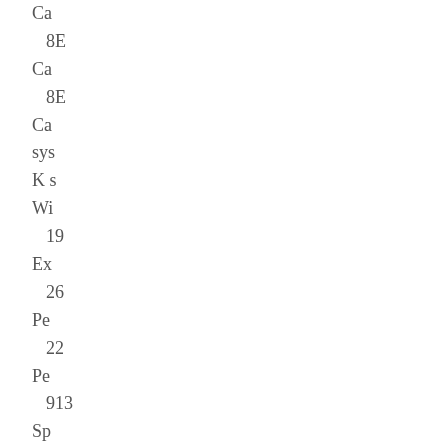Ca
8E
Ca
8E
Ca sys
K s
Wi
19
Ex
26
Pe
22
Pe
913
Sp
22
Do
211